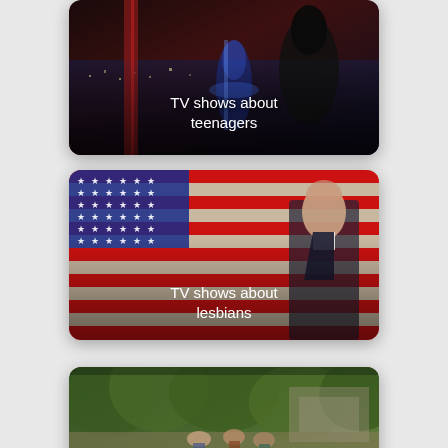[Figure (screenshot): TV show promotional card with dark superhero/sci-fi scene showing a female character in blue outfit and a dark-cloaked figure on a rooftop at night with city skyline. Text overlay reads 'TV shows about teenagers'.]
[Figure (screenshot): TV show promotional card featuring an American flag background with red and white stripes and stars, and a man in a suit looking upward. Text overlay reads 'TV shows about lesbians'.]
[Figure (screenshot): Partially visible TV show promotional card showing a group of people outdoors near trees and a bridge or stone structure. Card is cropped at the bottom of the page.]